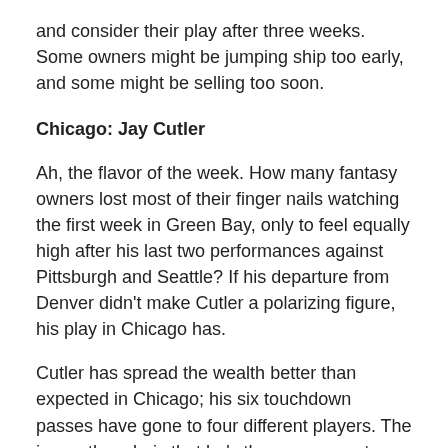and consider their play after three weeks. Some owners might be jumping ship too early, and some might be selling too soon.
Chicago: Jay Cutler
Ah, the flavor of the week. How many fantasy owners lost most of their finger nails watching the first week in Green Bay, only to feel equally high after his last two performances against Pittsburgh and Seattle? If his departure from Denver didn't make Cutler a polarizing figure, his play in Chicago has.
Cutler has spread the wealth better than expected in Chicago; his six touchdown passes have gone to four different players. The issue, though, is that he's thrown passes to five opposing players as well.